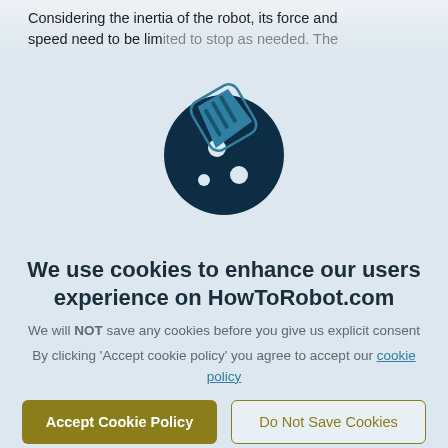Considering the inertia of the robot, its force and speed need to be limited to stop as needed. The
[Figure (illustration): Cookie icon: a dark teal/navy bitten cookie with chocolate chip dots, partially overlaid by a hand holding a cookie piece in a lighter teal/blue color.]
We use cookies to enhance our users experience on HowToRobot.com
We will NOT save any cookies before you give us explicit consent
By clicking 'Accept cookie policy' you agree to accept our cookie policy
Accept Cookie Policy
Do Not Save Cookies